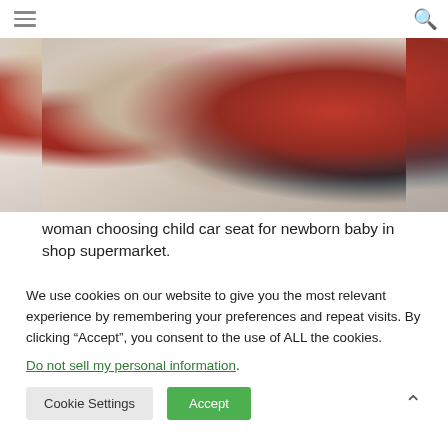Navigation menu and search icon
[Figure (photo): Woman choosing child car seat for newborn baby in shop supermarket. She is touching a red and black car seat on display.]
woman choosing child car seat for newborn baby in shop supermarket.
We use cookies on our website to give you the most relevant experience by remembering your preferences and repeat visits. By clicking “Accept”, you consent to the use of ALL the cookies.
Do not sell my personal information.